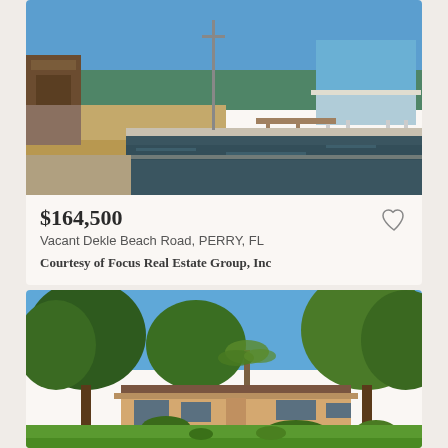[Figure (photo): Waterfront property showing a canal with concrete seawall, a dock, and a blue elevated house on stilts in the background under a clear blue sky]
$164,500
Vacant Dekle Beach Road, PERRY, FL
Courtesy of Focus Real Estate Group, Inc
[Figure (photo): Single-story ranch house with tan/beige exterior and brown roof, surrounded by large trees and green lawn, with palm trees in front]